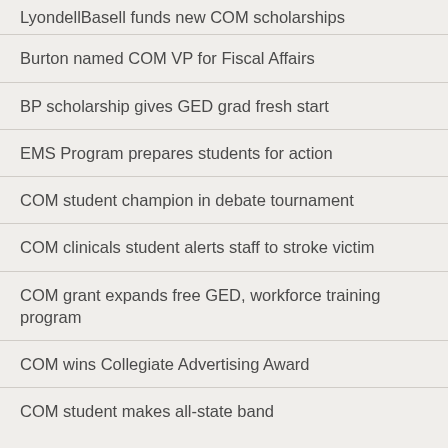LyondellBasell funds new COM scholarships
Burton named COM VP for Fiscal Affairs
BP scholarship gives GED grad fresh start
EMS Program prepares students for action
COM student champion in debate tournament
COM clinicals student alerts staff to stroke victim
COM grant expands free GED, workforce training program
COM wins Collegiate Advertising Award
COM student makes all-state band